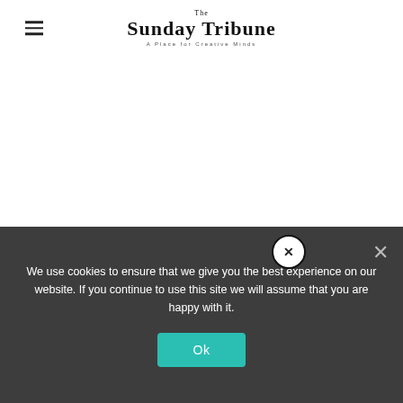The Sunday Tribune — A Place for Creative Minds
YOU MIGHT BE INTERESTED IN
We use cookies to ensure that we give you the best experience on our website. If you continue to use this site we will assume that you are happy with it.
Ok